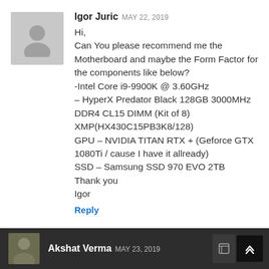[Figure (photo): Gray placeholder avatar silhouette for user Igor Juric]
Igor Juric MAY 22, 2019
Hi,
Can You please recommend me the Motherboard and maybe the Form Factor for the components like below?
-Intel Core i9-9900K @ 3.60GHz
– HyperX Predator Black 128GB 3000MHz DDR4 CL15 DIMM (Kit of 8) XMP(HX430C15PB3K8/128)
GPU – NVIDIA TITAN RTX + (Geforce GTX 1080Ti / cause I have it allready)
SSD – Samsung SSD 970 EVO 2TB
Thank you
Igor
Reply
[Figure (photo): Dark-themed comment author avatar for Akshat Verma]
Akshat Verma MAY 23, 2019